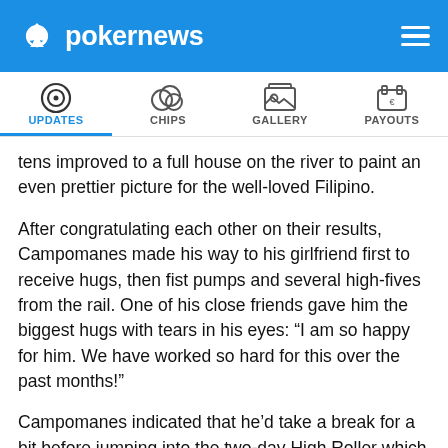pokernews
UPDATES   CHIPS   GALLERY   PAYOUTS
tens improved to a full house on the river to paint an even prettier picture for the well-loved Filipino.
After congratulating each other on their results, Campomanes made his way to his girlfriend first to receive hugs, then fist pumps and several high-fives from the rail. One of his close friends gave him the biggest hugs with tears in his eyes: “I am so happy for him. We have worked so hard for this over the past months!”
Campomanes indicated that he’d take a break for a bit before jumping into the two-day High Roller which PokerNews will also be covering from the final day onwards. Who knows what will happen, he might win that one too so keep following along from 1 p.m. local time on Saturday, January 11.